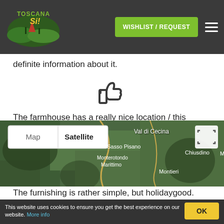Toscana Si! — WISHLIST / REQUEST
definite information about it.
[Figure (illustration): Thumbs up icon (like icon)]
The farmhouse has a really nice location / this families with children.
[Figure (illustration): Thumbs down icon (dislike icon)]
The furnishing is rather simple, but holidaygood.
[Figure (map): Satellite map view showing Val di Cecina, Sasso Pisano, Monterotondo Marittimo, Chiusdino, Montieri with Map/Satellite toggle and fullscreen button]
This website uses cookies to ensure you get the best experience on our website. More info